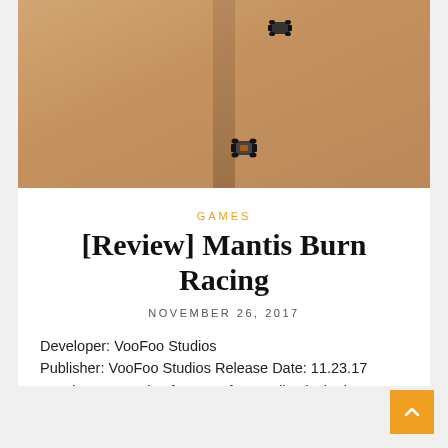[Figure (photo): Top-down aerial view of toy/model racing cars on a sandy dirt track surface]
GAMES
[Review] Mantis Burn Racing
NOVEMBER 26, 2017
Developer: VooFoo Studios
Publisher: VooFoo Studios Release Date: 11.23.17
Mantis Burn Racing from Voofoo Studios is the latest racing…
CONTINUE READING